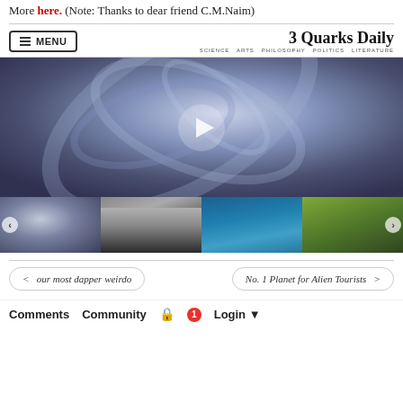More here. (Note: Thanks to dear friend C.M.Naim)
[Figure (screenshot): 3 Quarks Daily website navigation bar with menu button and site title/tagline]
[Figure (photo): Main featured image: close-up ultrasound-like swirling blue-grey image with a play button overlay]
[Figure (photo): Thumbnail carousel with four images: swirling blue-grey (ultrasound), two men in suits, whale sharks underwater, aerial landscape view. Left and right navigation arrows visible.]
< our most dapper weirdo
No. 1 Planet for Alien Tourists >
Comments  Community  🔒  1  Login